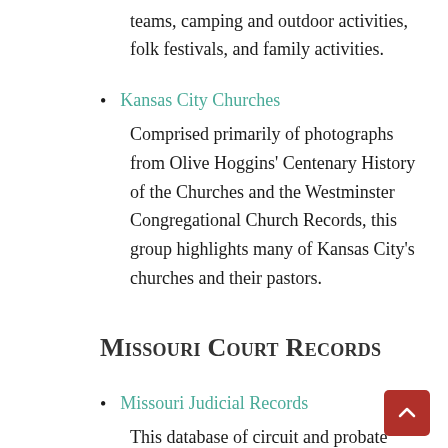teams, camping and outdoor activities, folk festivals, and family activities.
Kansas City Churches
Comprised primarily of photographs from Olive Hoggins' Centenary History of the Churches and the Westminster Congregational Church Records, this group highlights many of Kansas City's churches and their pastors.
Missouri Court Records
Missouri Judicial Records
This database of circuit and probate court